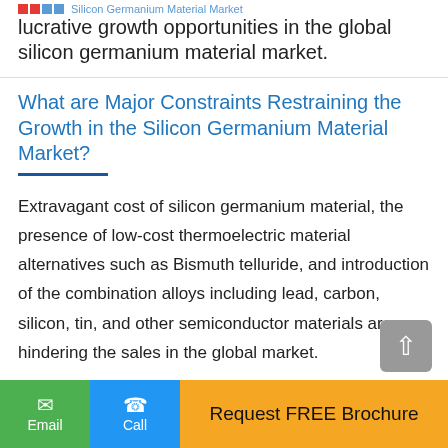Silicon Germanium Material Market | lucrative growth opportunities in the global silicon germanium material market.
What are Major Constraints Restraining the Growth in the Silicon Germanium Material Market?
Extravagant cost of silicon germanium material, the presence of low-cost thermoelectric material alternatives such as Bismuth telluride, and introduction of the combination alloys including lead, carbon, silicon, tin, and other semiconductor materials are hindering the sales in the global market.
In addition to this, high cost of electronic devices su...